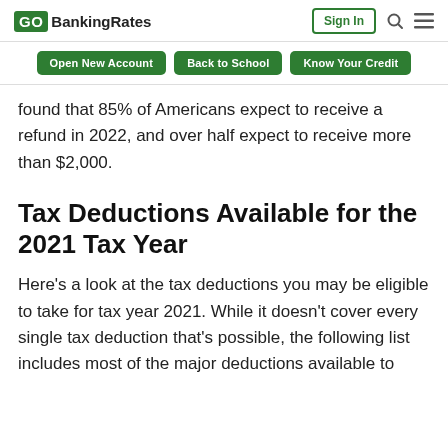GO BankingRates | Sign In | [search] [menu]
Open New Account  Back to School  Know Your Credit
found that 85% of Americans expect to receive a refund in 2022, and over half expect to receive more than $2,000.
Tax Deductions Available for the 2021 Tax Year
Here’s a look at the tax deductions you may be eligible to take for tax year 2021. While it doesn’t cover every single tax deduction that’s possible, the following list includes most of the major deductions available to